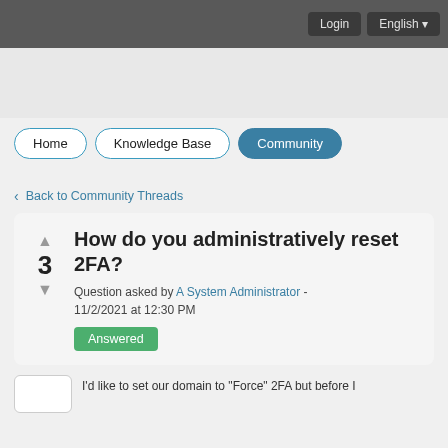Login  English
Home  Knowledge Base  Community
< Back to Community Threads
How do you administratively reset 2FA?
Question asked by A System Administrator - 11/2/2021 at 12:30 PM
Answered
I'd like to set our domain to "Force" 2FA but before I